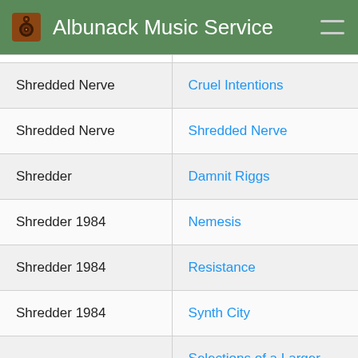Albunack Music Service
| Artist | Album |
| --- | --- |
| Shredded Nerve | Cruel Intentions |
| Shredded Nerve | Shredded Nerve |
| Shredder | Damnit Riggs |
| Shredder 1984 | Nemesis |
| Shredder 1984 | Resistance |
| Shredder 1984 | Synth City |
| Shredderghost | Selections of a Larger Section |